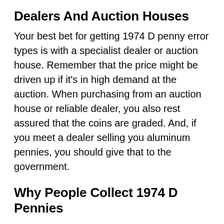Dealers And Auction Houses
Your best bet for getting 1974 D penny error types is with a specialist dealer or auction house. Remember that the price might be driven up if it's in high demand at the auction. When purchasing from an auction house or reliable dealer, you also rest assured that the coins are graded. And, if you meet a dealer selling you aluminum pennies, you should give that to the government.
Why People Collect 1974 D Pennies